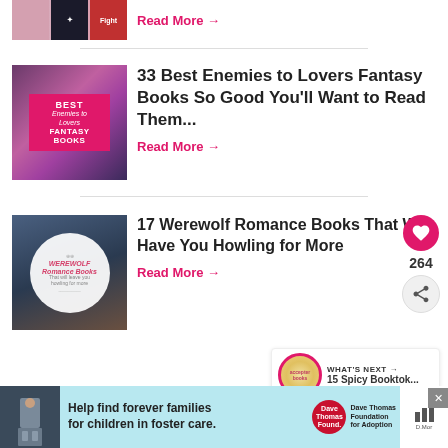[Figure (illustration): Partial book cover thumbnails row at top]
Read More →
[Figure (illustration): Book cover collage for 33 Best Enemies to Lovers Fantasy Books with pink/magenta center tile]
33 Best Enemies to Lovers Fantasy Books So Good You'll Want to Read Them...
Read More →
[Figure (illustration): Book cover collage for 17 Werewolf Romance Books with circular white badge]
17 Werewolf Romance Books That Will Have You Howling for More
Read More →
264
WHAT'S NEXT → 15 Spicy Booktok...
Best of, Book Lists
[Figure (illustration): Advertisement banner: Help find forever families for children in foster care. Dave Thomas Foundation for Adoption.]